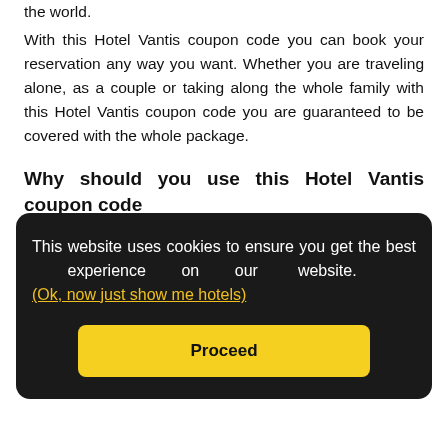the world.
With this Hotel Vantis coupon code you can book your reservation any way you want. Whether you are traveling alone, as a couple or taking along the whole family with this Hotel Vantis coupon code you are guaranteed to be covered with the whole package.
Why should you use this Hotel Vantis coupon code
No booking fees
This website uses cookies to ensure you get the best experience on our website. (Ok, now just show me hotels)
Proceed
With this Hotel Vantis coupon code you can expect big